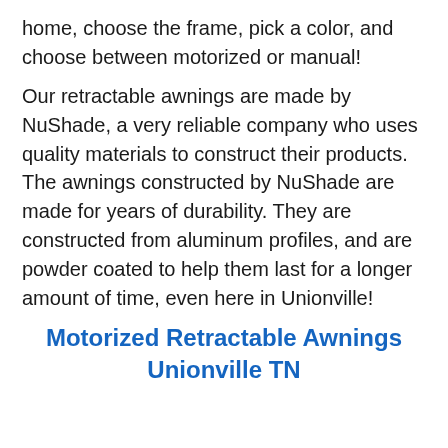home, choose the frame, pick a color, and choose between motorized or manual!
Our retractable awnings are made by NuShade, a very reliable company who uses quality materials to construct their products. The awnings constructed by NuShade are made for years of durability. They are constructed from aluminum profiles, and are powder coated to help them last for a longer amount of time, even here in Unionville!
Motorized Retractable Awnings Unionville TN